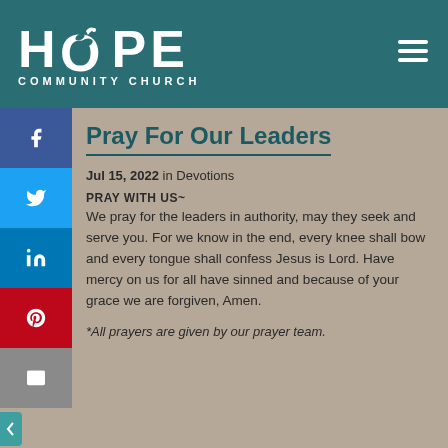[Figure (logo): Hope Community Church logo — white HOPE text with dove/bird in the O, subtitle COMMUNITY CHURCH, on teal background with hamburger menu icon]
Pray For Our Leaders
Jul 15, 2022 in Devotions
PRAY WITH US~
We pray for the leaders in authority, may they seek and serve you. For we know in the end, every knee shall bow and every tongue shall confess Jesus is Lord. Have mercy on us for all have sinned and because of your grace we are forgiven, Amen.
*All prayers are given by our prayer team.